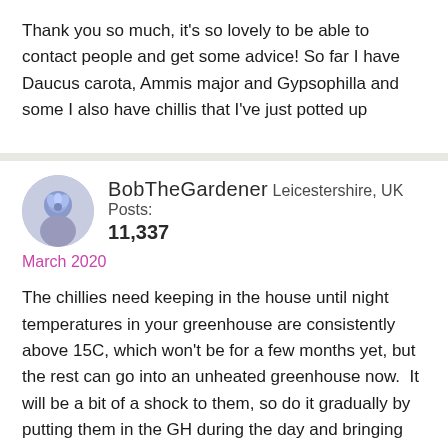Thank you so much, it's so lovely to be able to contact people and get some advice! So far I have Daucus carota, Ammis major and Gypsophilla and some I also have chillis that I've just potted up
BobTheGardener Leicestershire, UK Posts: 11,337
March 2020
The chillies need keeping in the house until night temperatures in your greenhouse are consistently above 15C, which won't be for a few months yet, but the rest can go into an unheated greenhouse now.  It will be a bit of a shock to them, so do it gradually by putting them in the GH during the day and bringing